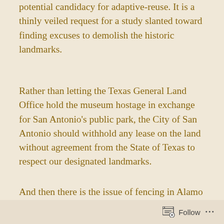potential candidacy for adaptive-reuse. It is a thinly veiled request for a study slanted toward finding excuses to demolish the historic landmarks.
Rather than letting the Texas General Land Office hold the museum hostage in exchange for San Antonio's public park, the City of San Antonio should withhold any lease on the land without agreement from the State of Texas to respect our designated landmarks.
And then there is the issue of fencing in Alamo Plaza, funneling everyone through one non-historical access point conveniently located by
Follow